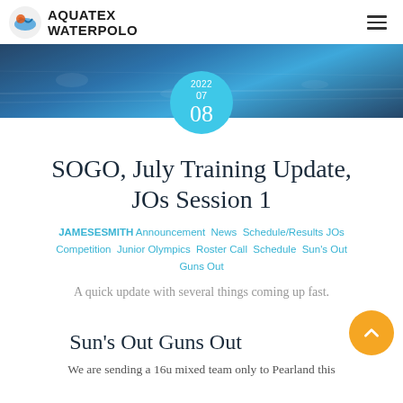AQUATEX WATERPOLO
[Figure (photo): Water polo pool scene with players, blue water, overhead lighting. Date bubble overlay showing 2022 / 07 / 08 in cyan circle.]
SOGO, July Training Update, JOs Session 1
JAMESESMITH Announcement  News  Schedule/Results JOs  Competition  Junior Olympics  Roster Call  Schedule  Sun's Out Guns Out
A quick update with several things coming up fast.
Sun's Out Guns Out
We are sending a 16u mixed team only to Pearland this